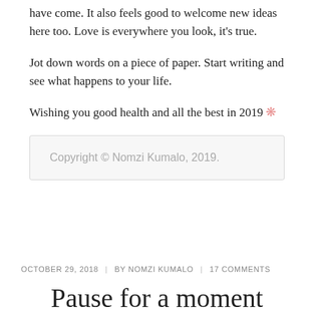have come. It also feels good to welcome new ideas here too. Love is everywhere you look, it's true.
Jot down words on a piece of paper. Start writing and see what happens to your life.
Wishing you good health and all the best in 2019 🌸
Copyright © Nomzi Kumalo, 2019.
OCTOBER 29, 2018  |  BY NOMZI KUMALO  |  17 COMMENTS
Pause for a moment